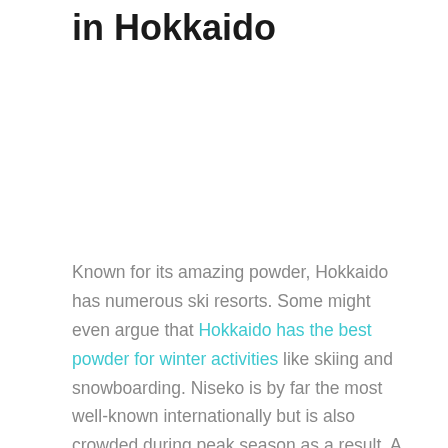in Hokkaido
Known for its amazing powder, Hokkaido has numerous ski resorts. Some might even argue that Hokkaido has the best powder for winter activities like skiing and snowboarding. Niseko is by far the most well-known internationally but is also crowded during peak season as a result. A friend